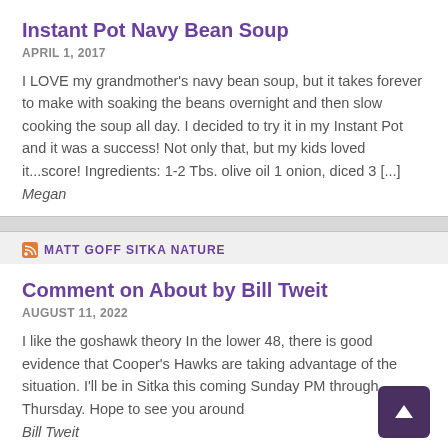Instant Pot Navy Bean Soup
APRIL 1, 2017
I LOVE my grandmother's navy bean soup, but it takes forever to make with soaking the beans overnight and then slow cooking the soup all day. I decided to try it in my Instant Pot and it was a success! Not only that, but my kids loved it...score! Ingredients: 1-2 Tbs. olive oil 1 onion, diced 3 [...]
Megan
MATT GOFF SITKA NATURE
Comment on About by Bill Tweit
AUGUST 11, 2022
I like the goshawk theory In the lower 48, there is good evidence that Cooper's Hawks are taking advantage of the situation. I'll be in Sitka this coming Sunday PM through Thursday. Hope to see you around
Bill Tweit